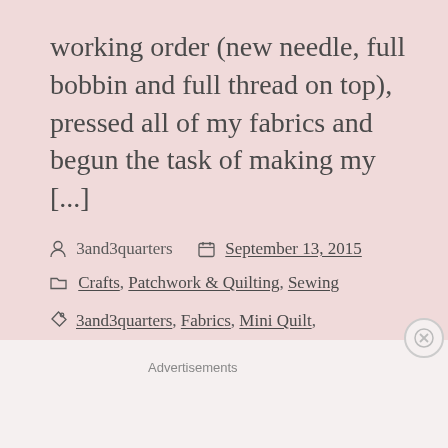working order (new needle, full bobbin and full thread on top), pressed all of my fabrics and begun the task of making my [...]
3and3quarters  September 13, 2015
Crafts, Patchwork & Quilting, Sewing
3and3quarters, Fabrics, Mini Quilt, Modern Quilting Blog, Notting Hill House Mini, patchwork, Sewing
Advertisements